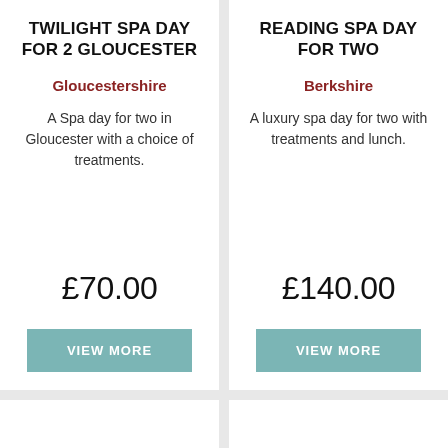TWILIGHT SPA DAY FOR 2 GLOUCESTER
Gloucestershire
A Spa day for two in Gloucester with a choice of treatments.
£70.00
VIEW MORE
READING SPA DAY FOR TWO
Berkshire
A luxury spa day for two with treatments and lunch.
£140.00
VIEW MORE